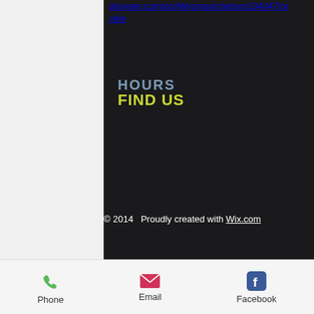plongee.com/profile/omanichelson104347/profile
HOURS
FIND US
© 2014   Proudly created with Wix.com
Phone
Email
Facebook